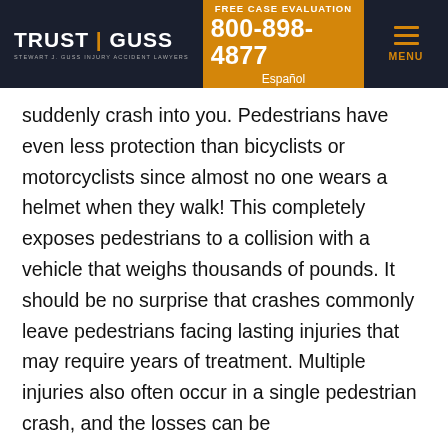TRUST | GUSS — STEWART J. GUSS INJURY ACCIDENT LAWYERS | FREE CASE EVALUATION 800-898-4877 Español | MENU
suddenly crash into you. Pedestrians have even less protection than bicyclists or motorcyclists since almost no one wears a helmet when they walk! This completely exposes pedestrians to a collision with a vehicle that weighs thousands of pounds. It should be no surprise that crashes commonly leave pedestrians facing lasting injuries that may require years of treatment. Multiple injuries also often occur in a single pedestrian crash, and the losses can be